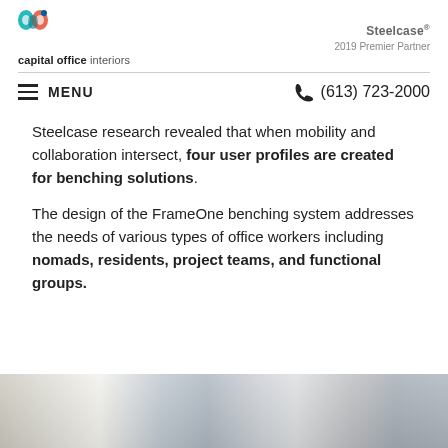capital office interiors | Steelcase® 2019 Premier Partner
MENU  (613) 723-2000
Steelcase research revealed that when mobility and collaboration intersect, four user profiles are created for benching solutions.
The design of the FrameOne benching system addresses the needs of various types of office workers including nomads, residents, project teams, and functional groups.
[Figure (photo): Office workspace photo showing benching desks with chairs and monitors in a bright open office environment.]